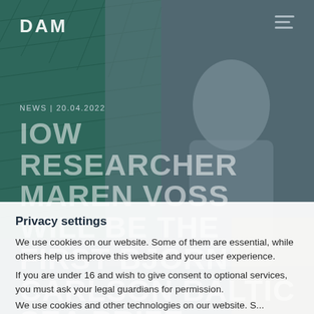[Figure (photo): Background photo of a researcher (Maren Voss) with a teal fishing net, dark overlay. DAM logo and hamburger menu visible in header.]
DAM
NEWS | 20.04.2022
IOW RESEARCHER MAREN VOSS WILL BE THE FIRST BJÖRN CARLSON BALTIC SEA PRIZE LAUREATE
Privacy settings
We use cookies on our website. Some of them are essential, while others help us improve this website and your user experience.
If you are under 16 and wish to give consent to optional services, you must ask your legal guardians for permission.
We use cookies and other technologies on our website. S...